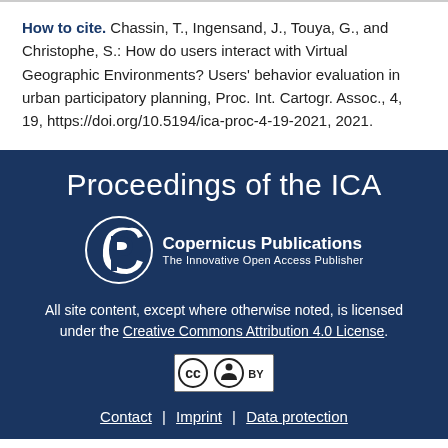How to cite. Chassin, T., Ingensand, J., Touya, G., and Christophe, S.: How do users interact with Virtual Geographic Environments? Users' behavior evaluation in urban participatory planning, Proc. Int. Cartogr. Assoc., 4, 19, https://doi.org/10.5194/ica-proc-4-19-2021, 2021.
Proceedings of the ICA
[Figure (logo): Copernicus Publications logo — stylized CP monogram in white circle with text 'Copernicus Publications / The Innovative Open Access Publisher']
All site content, except where otherwise noted, is licensed under the Creative Commons Attribution 4.0 License.
[Figure (logo): Creative Commons CC BY license badge — black and white rectangular badge with CC and person icons and BY label]
Contact | Imprint | Data protection